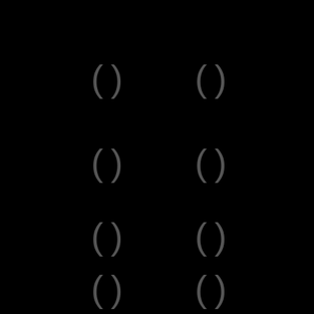[Figure (other): Black background with four rows of paired parenthesis-like arc symbols arranged symmetrically in two columns. Each pair consists of a left parenthesis arc and a right parenthesis arc rendered in dark gray on a black background. The pairs are positioned at approximately: top row (y~110), second row (y~390), third row (y~670), fourth row (y~950) in original scale, symmetrically left and right.]